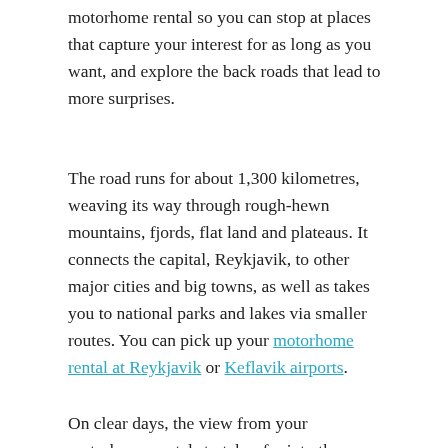motorhome rental so you can stop at places that capture your interest for as long as you want, and explore the back roads that lead to more surprises.
The road runs for about 1,300 kilometres, weaving its way through rough-hewn mountains, fjords, flat land and plateaus. It connects the capital, Reykjavik, to other major cities and big towns, as well as takes you to national parks and lakes via smaller routes. You can pick up your motorhome rental at Reykjavik or Keflavik airports.
On clear days, the view from your motorhome rental stretches far into the horizon, and you will see country farms, waterfalls, glaciers, lakes, hot springs, sleepy villages, islands and the sea. As you continue on farther south, there are plenty of impressive waterfalls, glacial lagoons, quaint coastal towns, black